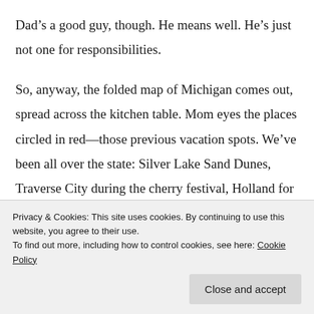Dad's a good guy, though. He means well. He's just not one for responsibilities.

So, anyway, the folded map of Michigan comes out, spread across the kitchen table. Mom eyes the places circled in red—those previous vacation spots. We've been all over the state: Silver Lake Sand Dunes, Traverse City during the cherry festival, Holland for Tulip Time. We even spent a few days on Mackinac Island three summers ago—though we didn't stay at
Privacy & Cookies: This site uses cookies. By continuing to use this website, you agree to their use.
To find out more, including how to control cookies, see here: Cookie Policy